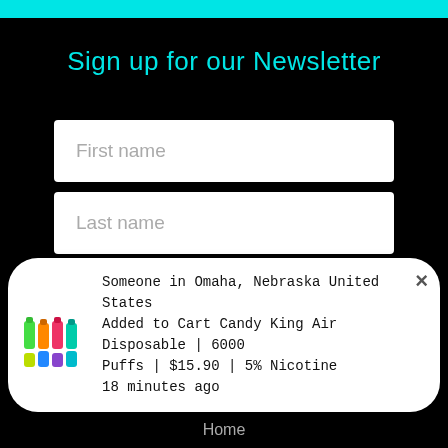Sign up for our Newsletter
First name
Last name
Email address
SIGN UP
Someone in Omaha, Nebraska United States Added to Cart Candy King Air Disposable | 6000 Puffs | $15.90 | 5% Nicotine
18 minutes ago
Home